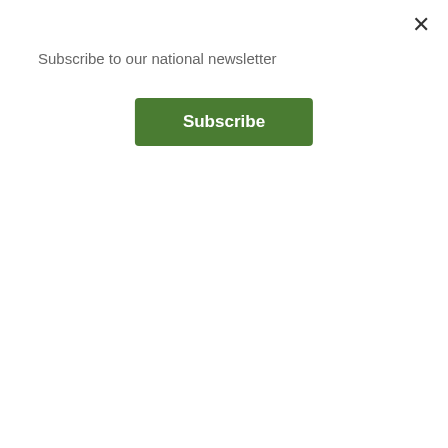Subscribe to our national newsletter
Subscribe
small-community experiences of fellowship and communion can assuage feelings of separation and isolation, and create inner experiences of wholeness and belonging.
Mentoring Each Other
Although not always sharing a common geographical location, small communities formed around common interests and shared values enable emotional healing. The ManKind Project (MKP), which describes itself as a "men's community for the 21st century," has more than 1,000 peer-facilitated groups in 22 countries in which men mentor each other through their life